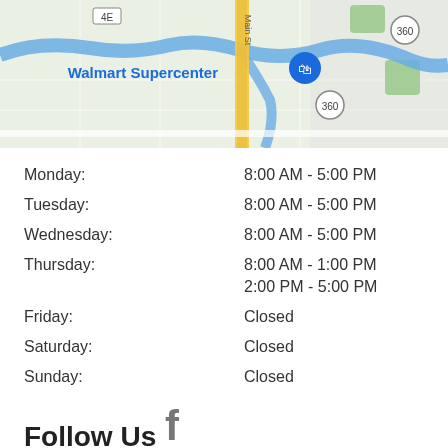[Figure (map): Google Maps view showing Walmart Supercenter location near Main St with route 360 marked]
Monday: 8:00 AM - 5:00 PM
Tuesday: 8:00 AM - 5:00 PM
Wednesday: 8:00 AM - 5:00 PM
Thursday: 8:00 AM - 1:00 PM
2:00 PM - 5:00 PM
Friday: Closed
Saturday: Closed
Sunday: Closed
Follow Us
[Figure (logo): Facebook logo icon in grey]